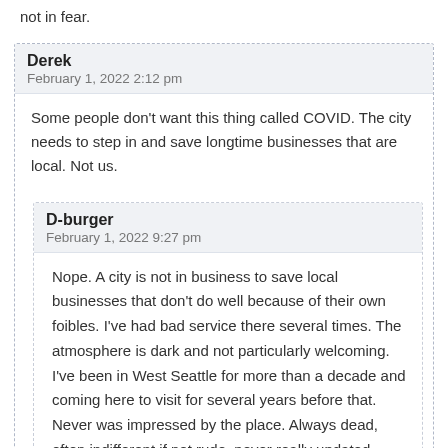not in fear.
Derek
February 1, 2022 2:12 pm
Some people don't want this thing called COVID. The city needs to step in and save longtime businesses that are local. Not us.
D-burger
February 1, 2022 9:27 pm
Nope. A city is not in business to save local businesses that don't do well because of their own foibles. I've had bad service there several times. The atmosphere is dark and not particularly welcoming. I've been in West Seattle for more than a decade and coming here to visit for several years before that. Never was impressed by the place. Always dead, often indifferent if not rude, never really updated anything. If you don't engage the people, you aren't going to make it. Plus, Covid is not really a